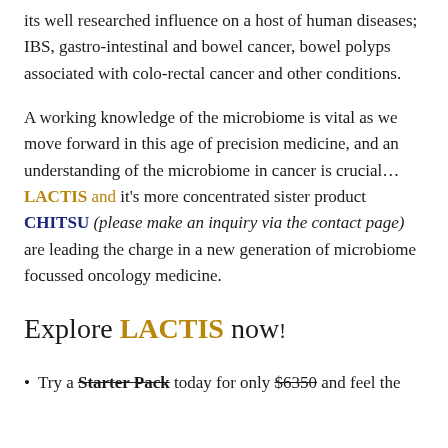its well researched influence on a host of human diseases; IBS, gastro-intestinal and bowel cancer, bowel polyps associated with colo-rectal cancer and other conditions.
A working knowledge of the microbiome is vital as we move forward in this age of precision medicine, and an understanding of the microbiome in cancer is crucial… LACTIS and it's more concentrated sister product CHITSU (please make an inquiry via the contact page) are leading the charge in a new generation of microbiome focussed oncology medicine.
Explore LACTIS now!
Try a Starter Pack today for only $6350 and feel the